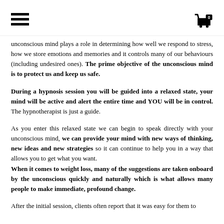Navigation menu and cart icon (0 items)
unconscious mind plays a role in determining how well we respond to stress, how we store emotions and memories and it controls many of our behaviours (including undesired ones). The prime objective of the unconscious mind is to protect us and keep us safe.
During a hypnosis session you will be guided into a relaxed state, your mind will be active and alert the entire time and YOU will be in control. The hypnotherapist is just a guide.
As you enter this relaxed state we can begin to speak directly with your unconscious mind, we can provide your mind with new ways of thinking, new ideas and new strategies so it can continue to help you in a way that allows you to get what you want. When it comes to weight loss, many of the suggestions are taken onboard by the unconscious quickly and naturally which is what allows many people to make immediate, profound change.
After the initial session, clients often report that it was easy for them to